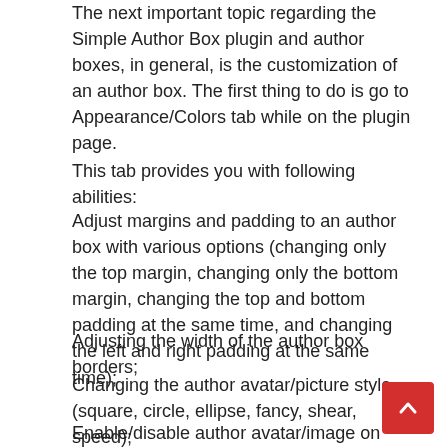The next important topic regarding the Simple Author Box plugin and author boxes, in general, is the customization of an author box. The first thing to do is go to Appearance/Colors tab while on the plugin page.
This tab provides you with following abilities:
Adjust margins and padding to an author box with various options (changing only the top margin, changing only the bottom margin, changing the top and bottom padding at the same time, and changing the left and right padding at the same time);
Adjusting the width of the author box borders;
Changing the author avatar/picture style (square, circle, ellipse, fancy, shear, speed);
Enable/disable author avatar/image on hover;